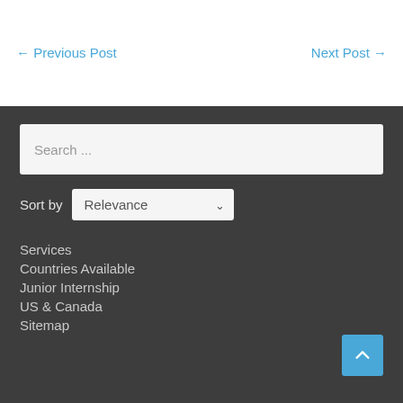← Previous Post
Next Post →
Search ...
Sort by Relevance
Services
Countries Available
Junior Internship
US & Canada
Sitemap
[Figure (other): Back to top button with upward chevron arrow, blue background]